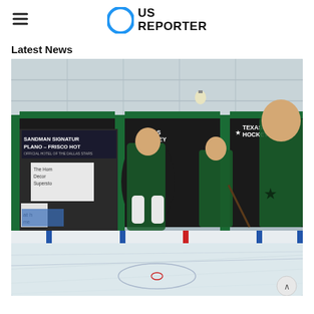US REPORTER
Latest News
[Figure (photo): Interior of a hockey arena showing the ice rink in the foreground with boards, and large Texas Hockey mural graphics on the back wall featuring Dallas Stars players in green jerseys. Green structural beams visible. Sandman Signature Plano-Frisco Hotel signage on the left side.]